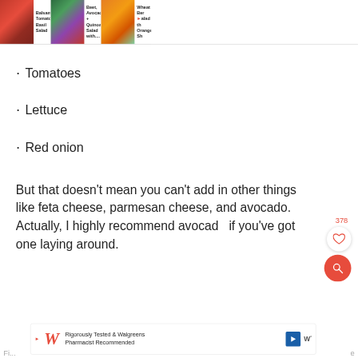[Figure (screenshot): Top navigation bar with three recipe thumbnails: Balsamic Tomato Basil Salad, Beet Avocado + Quinoa Salad with..., Wheat Berry Salad with Orange Sh...]
Tomatoes
Lettuce
Red onion
But that doesn't mean you can't add in other things like feta cheese, parmesan cheese, and avocado. Actually, I highly recommend avocado if you've got one laying around.
[Figure (screenshot): Like button with count 378 and orange search button overlay]
[Figure (screenshot): Advertisement bar: Rigorously Tested & Walgreens Pharmacist Recommended]